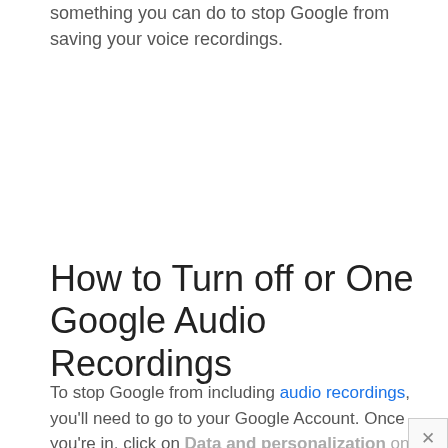something you can do to stop Google from saving your voice recordings.
How to Turn off or One Google Audio Recordings
To stop Google from including audio recordings, you'll need to go to your Google Account. Once you're in, click on Data and personalization on the left panel.